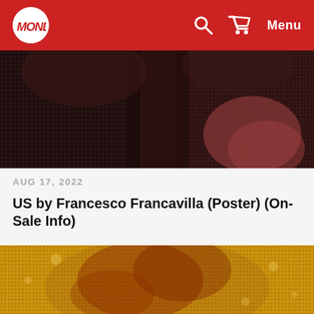Mondo — Menu
[Figure (photo): Cropped close-up of a dark red and black halftone poster image, showing abstract shapes with a reddish-brown and dark background pattern]
AUG 17, 2022
US by Francesco Francavilla (Poster) (On-Sale Info)
[Figure (photo): Cropped close-up of a golden-yellow and dark red halftone poster image showing illustrated figures in a circular composition]